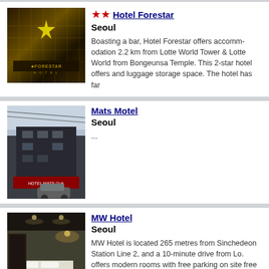[Figure (photo): Hotel Forestar exterior with illuminated star logo and FORESTAR HOTEL sign]
★★ Hotel Forestar
Seoul

Boasting a bar, Hotel Forestar offers accommodation 2.2 km from Lotte World Tower & Lotte World from Bongeunsa Temple. This 2-star hotel offers and luggage storage space. The hotel has family...
[Figure (photo): Mats Motel exterior, dark building with signage, street view]
Mats Motel
Seoul

...
[Figure (photo): MW Hotel interior room with bed and modern lighting]
MW Hotel
Seoul

MW Hotel is located 265 metres from Sincheon Station Line 2, and a 10-minute drive from Lo. offers modern rooms with free parking on site free Wi-Fi access. Air-conditioned guest room computer,...